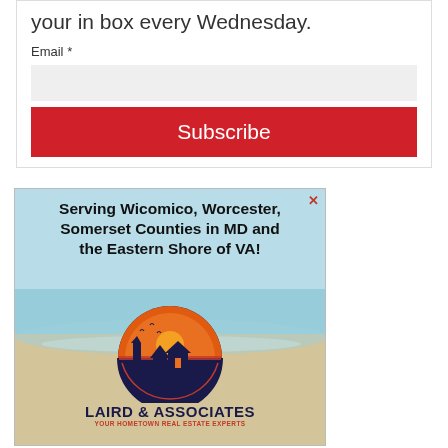your in box every Wednesday.
Email *
Subscribe
[Figure (illustration): Advertisement for Laird & Associates real estate. Beach background with ocean water and sandy shore. Bold black text reads: Serving Wicomico, Worcester, Somerset Counties in MD and the Eastern Shore of VA! Below the text is a circular logo with a silhouette of houses and a lighthouse against an orange/red sunset sky with birds flying. Text beneath logo reads: LAIRD & ASSOCIATES in large navy letters and YOUR HOMETOWN REAL ESTATE EXPERTS in small red text. A red X close button appears in the top right corner of the ad.]